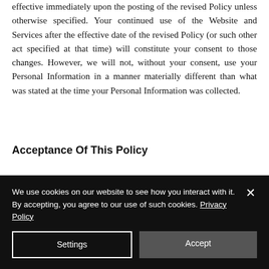effective immediately upon the posting of the revised Policy unless otherwise specified. Your continued use of the Website and Services after the effective date of the revised Policy (or such other act specified at that time) will constitute your consent to those changes. However, we will not, without your consent, use your Personal Information in a manner materially different than what was stated at the time your Personal Information was collected.
Acceptance Of This Policy
[faded continuation text]